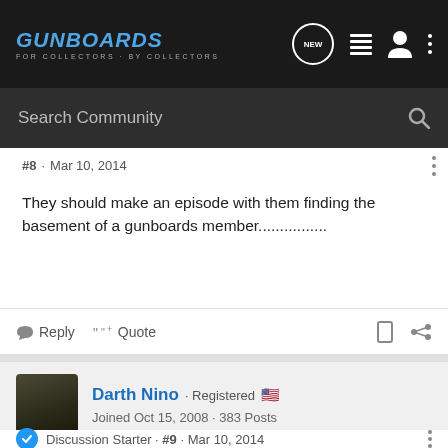GUNBOARDS - FOR COLLECTORS · BY COLLECTORS
Search Community
#8 · Mar 10, 2014
They should make an episode with them finding the basement of a gunboards member................
Reply   Quote
Darth Nino · Registered 🇺🇸
Joined Oct 15, 2008 · 383 Posts
Discussion Starter · #9 · Mar 10, 2014